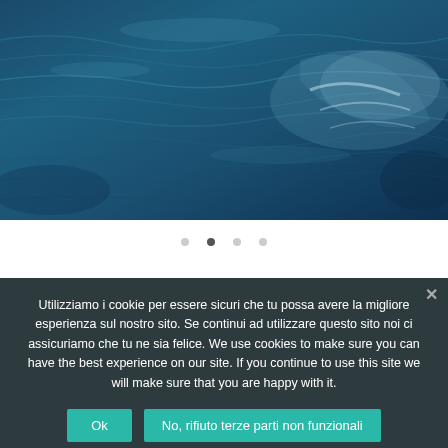[Figure (photo): Aerial or close-up view of dark blue ocean water with waves and foam]
Utilizziamo i cookie per essere sicuri che tu possa avere la migliore esperienza sul nostro sito. Se continui ad utilizzare questo sito noi ci assicuriamo che tu ne sia felice. We use cookies to make sure you can have the best experience on our site. If you continue to use this site we will make sure that you are happy with it.
Ok
No, rifiuto terze parti non funzionali
Privacy policy